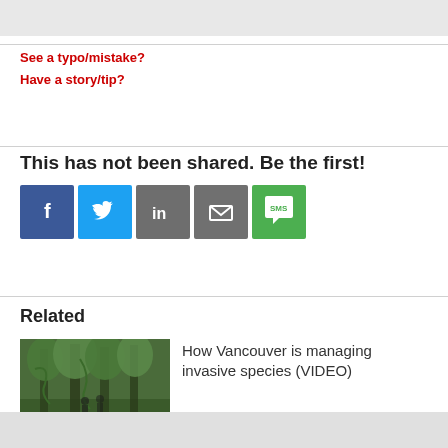See a typo/mistake?
Have a story/tip?
This has not been shared. Be the first!
[Figure (infographic): Social sharing buttons: Facebook (blue), Twitter (light blue), LinkedIn (gray), Email (gray), SMS (green)]
Related
[Figure (photo): Forest scene with tall trees covered in ivy/vines, people visible in background]
How Vancouver is managing invasive species (VIDEO)